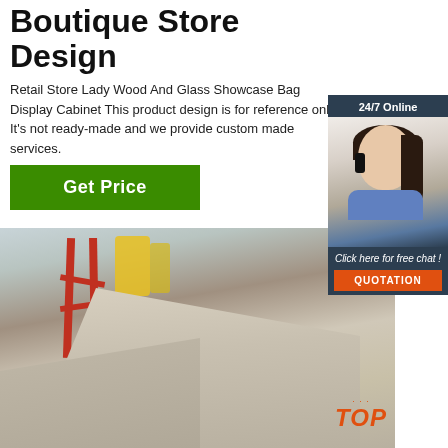Boutique Store Design
Retail Store Lady Wood And Glass Showcase Bag Display Cabinet This product design is for reference only. It's not ready-made and we provide custom made services.
Get Price
[Figure (photo): Workshop/warehouse floor with red scaffolding, yellow elements in background, and wooden planks on the floor]
[Figure (infographic): 24/7 Online chat widget with agent photo, 'Click here for free chat!' text and QUOTATION button]